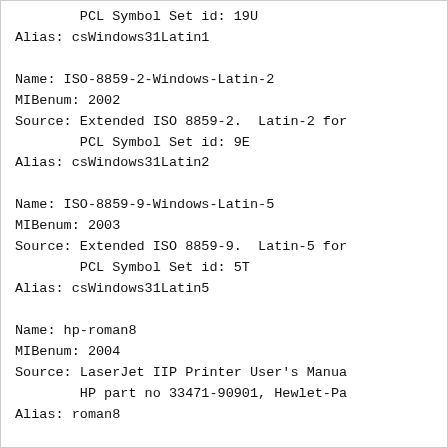PCL Symbol Set id: 19U
Alias: csWindows31Latin1
Name: ISO-8859-2-Windows-Latin-2
MIBenum: 2002
Source: Extended ISO 8859-2.  Latin-2 for
        PCL Symbol Set id: 9E
Alias: csWindows31Latin2
Name: ISO-8859-9-Windows-Latin-5
MIBenum: 2003
Source: Extended ISO 8859-9.  Latin-5 for
        PCL Symbol Set id: 5T
Alias: csWindows31Latin5
Name: hp-roman8
MIBenum: 2004
Source: LaserJet IIP Printer User's Manua
        HP part no 33471-90901, Hewlet-Pa
Alias: roman8